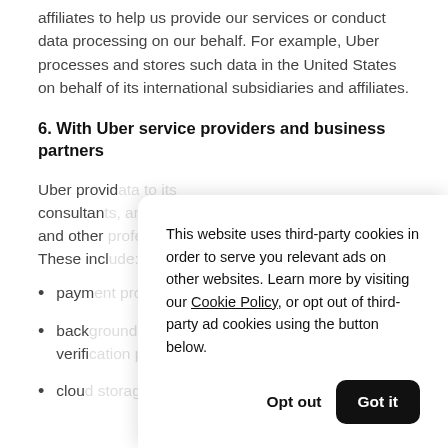affiliates to help us provide our services or conduct data processing on our behalf. For example, Uber processes and stores such data in the United States on behalf of its international subsidiaries and affiliates.
6. With Uber service providers and business partners
Uber provid[...] consultan[...] and other [...] These incl[...]
paym[...]
back[...] verifi[...]
clou[...]
This website uses third-party cookies in order to serve you relevant ads on other websites. Learn more by visiting our Cookie Policy, or opt out of third-party ad cookies using the button below.